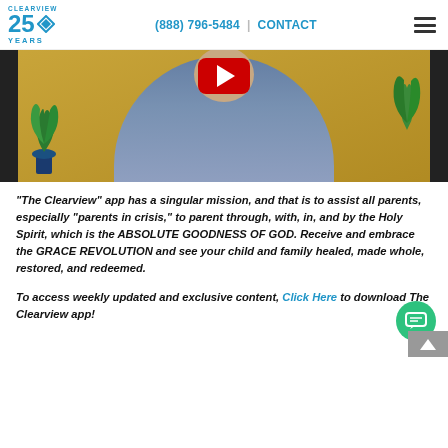CLEARVIEW 25 YEARS | (888) 796-5484 | CONTACT
[Figure (photo): Screenshot of a video player showing a man in a blue plaid shirt seated in front of a yellow/gold background with plants, with a red YouTube play button overlay at the top center.]
"The Clearview" app has a singular mission, and that is to assist all parents, especially "parents in crisis," to parent through, with, in, and by the Holy Spirit, which is the ABSOLUTE GOODNESS OF GOD. Receive and embrace the GRACE REVOLUTION and see your child and family healed, made whole, restored, and redeemed.
To access weekly updated and exclusive content, Click Here to download The Clearview app!